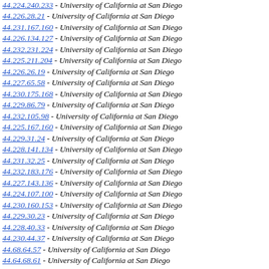44.224.240.233 - University of California at San Diego
44.226.28.21 - University of California at San Diego
44.231.167.160 - University of California at San Diego
44.226.134.127 - University of California at San Diego
44.232.231.224 - University of California at San Diego
44.225.211.204 - University of California at San Diego
44.226.26.19 - University of California at San Diego
44.227.65.58 - University of California at San Diego
44.230.175.168 - University of California at San Diego
44.229.86.79 - University of California at San Diego
44.232.105.98 - University of California at San Diego
44.225.167.160 - University of California at San Diego
44.229.31.24 - University of California at San Diego
44.228.141.134 - University of California at San Diego
44.231.32.25 - University of California at San Diego
44.232.183.176 - University of California at San Diego
44.227.143.136 - University of California at San Diego
44.224.107.100 - University of California at San Diego
44.230.160.153 - University of California at San Diego
44.229.30.23 - University of California at San Diego
44.228.40.33 - University of California at San Diego
44.230.44.37 - University of California at San Diego
44.68.64.57 - University of California at San Diego
44.64.68.61 - University of California at San Diego
44.230.198.191 - University of California at San Diego
44.224.144.137 - University of California at San Diego
44.225.55.48 - University of California at San Diego
44.224.211.204 - University of California at San Diego
44.230.192.185 - University of California at San Diego
44.52.232.225 - University of California at San Diego
44.225.21.74 - University of California at San Diego